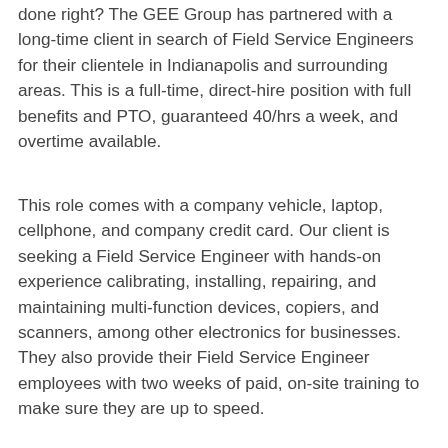done right? The GEE Group has partnered with a long-time client in search of Field Service Engineers for their clientele in Indianapolis and surrounding areas. This is a full-time, direct-hire position with full benefits and PTO, guaranteed 40/hrs a week, and overtime available.
This role comes with a company vehicle, laptop, cellphone, and company credit card. Our client is seeking a Field Service Engineer with hands-on experience calibrating, installing, repairing, and maintaining multi-function devices, copiers, and scanners, among other electronics for businesses. They also provide their Field Service Engineer employees with two weeks of paid, on-site training to make sure they are up to speed.